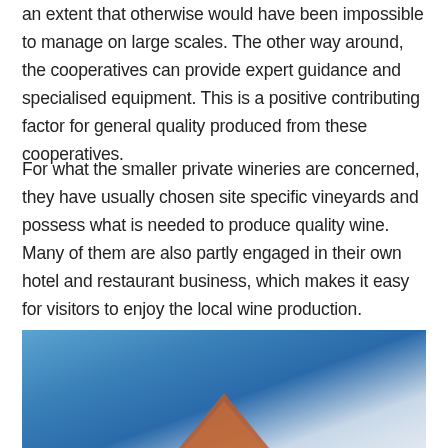an extent that otherwise would have been impossible to manage on large scales. The other way around, the cooperatives can provide expert guidance and specialised equipment. This is a positive contributing factor for general quality produced from these cooperatives.
For what the smaller private wineries are concerned, they have usually chosen site specific vineyards and possess what is needed to produce quality wine. Many of them are also partly engaged in their own hotel and restaurant business, which makes it easy for visitors to enjoy the local wine production.
[Figure (photo): Photo of a building rooftop against a blue sky, partially visible at the bottom of the page.]